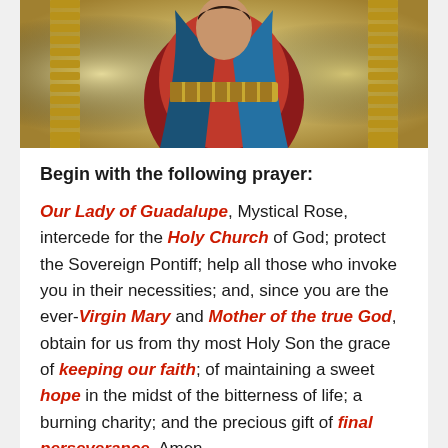[Figure (illustration): Religious illustration of Our Lady of Guadalupe with red robe, blue mantle, and gold decorative collar/frame, set against a golden glowing background]
Begin with the following prayer:
Our Lady of Guadalupe, Mystical Rose, intercede for the Holy Church of God; protect the Sovereign Pontiff; help all those who invoke you in their necessities; and, since you are the ever-Virgin Mary and Mother of the true God, obtain for us from thy most Holy Son the grace of keeping our faith; of maintaining a sweet hope in the midst of the bitterness of life; a burning charity; and the precious gift of final perseverance. Amen.